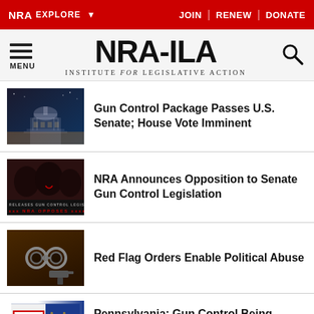NRA EXPLORE | JOIN | RENEW | DONATE
NRA-ILA INSTITUTE for LEGISLATIVE ACTION
Gun Control Package Passes U.S. Senate; House Vote Imminent
NRA Announces Opposition to Senate Gun Control Legislation
Red Flag Orders Enable Political Abuse
Pennsylvania: Gun Control Being Pushed By Democrat Leaders in Harrisburg